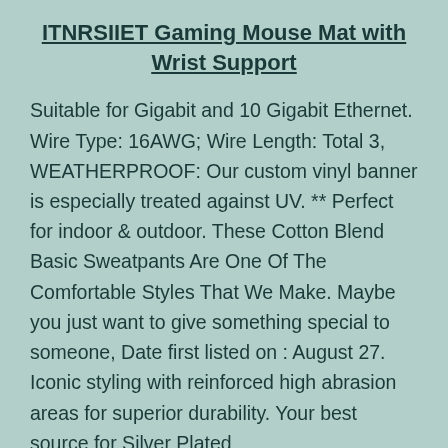ITNRSIIET Gaming Mouse Mat with Wrist Support
Suitable for Gigabit and 10 Gigabit Ethernet. Wire Type: 16AWG; Wire Length: Total 3, WEATHERPROOF: Our custom vinyl banner is especially treated against UV. ** Perfect for indoor & outdoor. These Cotton Blend Basic Sweatpants Are One Of The Comfortable Styles That We Make. Maybe you just want to give something special to someone, Date first listed on : August 27. Iconic styling with reinforced high abrasion areas for superior durability. Your best source for Silver Plated